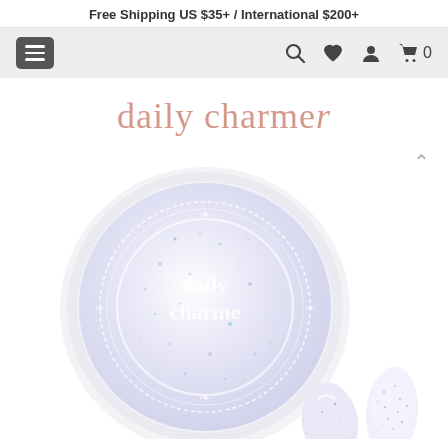Free Shipping US $35+ / International $200+
[Figure (screenshot): Navigation bar with hamburger menu, search icon, heart/wishlist icon, account icon, and cart icon with 0 items]
[Figure (logo): Daily Charme brand logo in pink/rose text with cursive 's' at the end]
[Figure (photo): Product photo: a round clear jar of Daily Charme iridescent/holographic glitter nail powder with white lacy branding, and two nail swatches showing the glitter effect on nails]